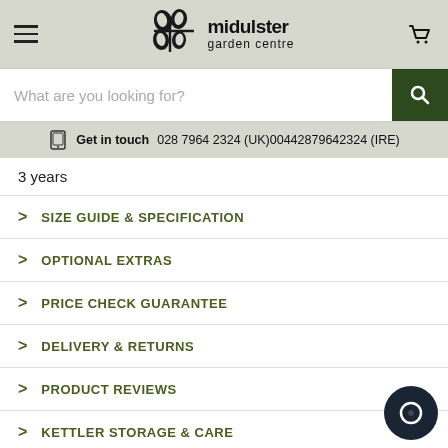[Figure (logo): Mid Ulster Garden Centre logo with stylized leaf/pod icon and text]
What are you looking for?
Get in touch  028 7964 2324 (UK)00442879642324 (IRE)
3 years
> SIZE GUIDE & SPECIFICATION
> OPTIONAL EXTRAS
> PRICE CHECK GUARANTEE
> DELIVERY & RETURNS
> PRODUCT REVIEWS
> KETTLER STORAGE & CARE